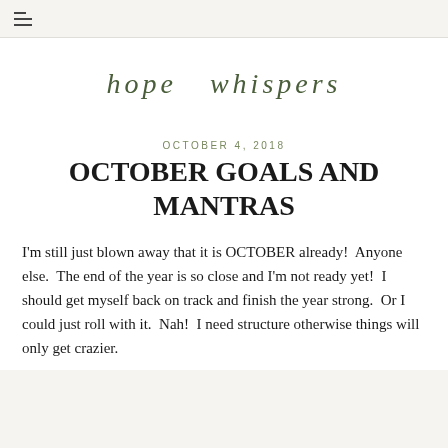≡
hope whispers
OCTOBER 4, 2018
OCTOBER GOALS AND MANTRAS
I'm still just blown away that it is OCTOBER already!  Anyone else.  The end of the year is so close and I'm not ready yet!  I should get myself back on track and finish the year strong.  Or I could just roll with it.  Nah!  I need structure otherwise things will only get crazier.